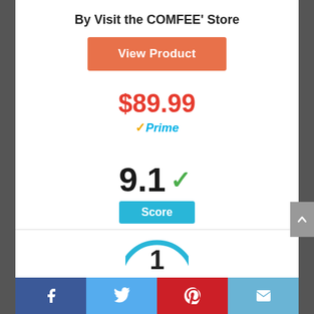By Visit the COMFEE' Store
View Product
$89.99
✓Prime
9.1 ✓
Score
[Figure (other): Partially visible circular gauge or donut chart at bottom of page, showing the number 1]
Facebook | Twitter | Pinterest | Email share buttons